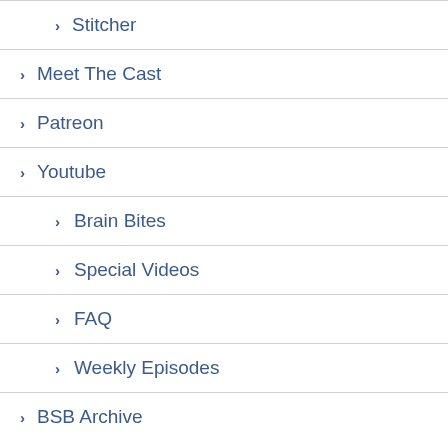Stitcher
Meet The Cast
Patreon
Youtube
Brain Bites
Special Videos
FAQ
Weekly Episodes
BSB Archive